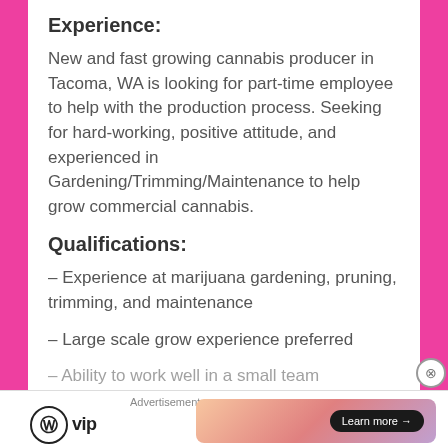Experience:
New and fast growing cannabis producer in Tacoma, WA is looking for part-time employee to help with the production process. Seeking for hard-working, positive attitude, and experienced in Gardening/Trimming/Maintenance to help grow commercial cannabis.
Qualifications:
– Experience at marijuana gardening, pruning, trimming, and maintenance
– Large scale grow experience preferred
– Ability to work well in a small team environment
Advertisements